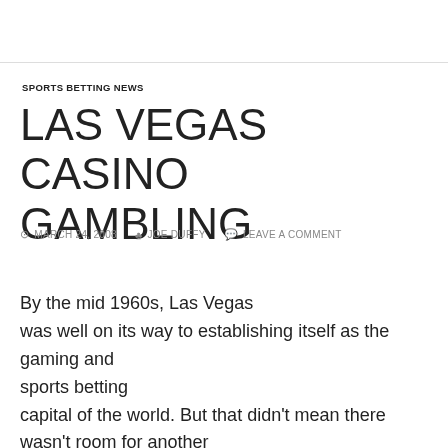SPORTS BETTING NEWS
LAS VEGAS CASINO GAMBLING
© MARCH 24, 2008   ♣ JOE DUFFY   💬 LEAVE A COMMENT
By the mid 1960s, Las Vegas was well on its way to establishing itself as the gaming and sports betting capital of the world. But that didn't mean there wasn't room for another visionary to challenge the status quo and expand the concept